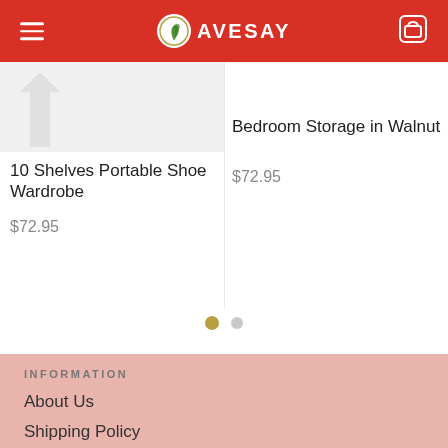AVESAY
Bedroom Storage in Walnut
10 Shelves Portable Shoe Wardrobe
$72.95
$72.95
INFORMATION
About Us
Shipping Policy
Privacy & Cookie Polic...